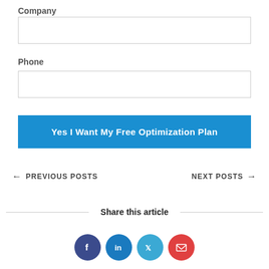Company
[Figure (other): Empty text input field for Company]
Phone
[Figure (other): Empty text input field for Phone]
Yes I Want My Free Optimization Plan
← PREVIOUS POSTS
NEXT POSTS →
Share this article
[Figure (other): Social share icons: Facebook, LinkedIn, Twitter, Email]